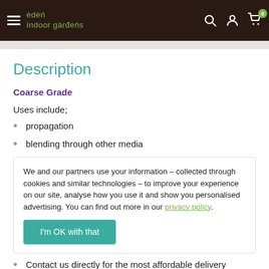eden indoor gardens
Description
Coarse Grade
Uses include;
propagation
blending through other media
We and our partners use your information – collected through cookies and similar technologies – to improve your experience on our site, analyse how you use it and show you personalised advertising. You can find out more in our privacy policy.
Contact us directly for the most affordable delivery